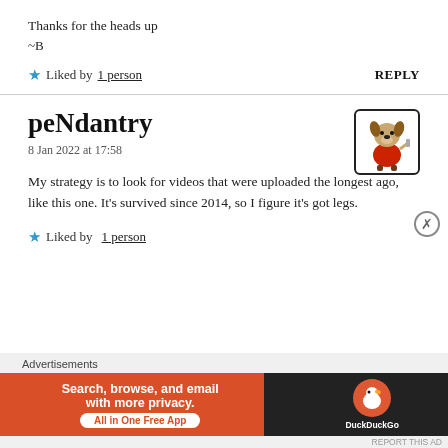Thanks for the heads up
~B
Liked by 1 person   REPLY
peNdantry
8 Jan 2022 at 17:58
[Figure (illustration): Cartoon avatar of an anthropomorphic dog character in a red jacket, shown in a small rounded-corner box]
My strategy is to look for videos that were uploaded the longest ago, like this one. It's survived since 2014, so I figure it's got legs.
Liked by 1 person
Advertisements
[Figure (screenshot): DuckDuckGo advertisement banner: orange background with text 'Search, browse, and email with more privacy. All in One Free App' and DuckDuckGo logo on dark background]